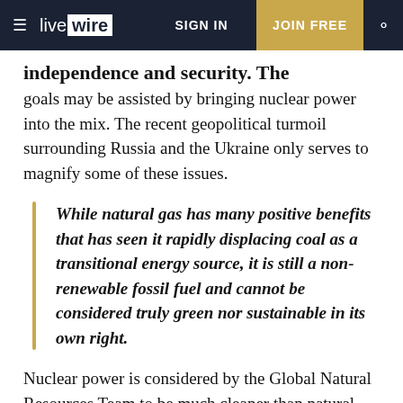live wire | SIGN IN | JOIN FREE
independence and security. The attainment of these goals may be assisted by bringing nuclear power into the mix. The recent geopolitical turmoil surrounding Russia and the Ukraine only serves to magnify some of these issues.
While natural gas has many positive benefits that has seen it rapidly displacing coal as a transitional energy source, it is still a non-renewable fossil fuel and cannot be considered truly green nor sustainable in its own right.
Nuclear power is considered by the Global Natural Resources Team to be much cleaner than natural gas, as it produces no greenhouse gases. It can be an